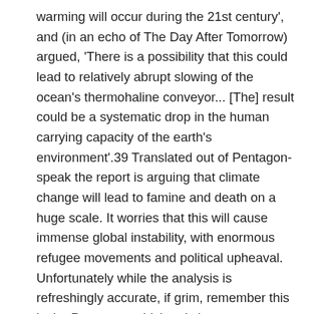warming will occur during the 21st century', and (in an echo of The Day After Tomorrow) argued, 'There is a possibility that this could lead to relatively abrupt slowing of the ocean's thermohaline conveyor... [The] result could be a systematic drop in the human carrying capacity of the earth's environment'.39 Translated out of Pentagon-speak the report is arguing that climate change will lead to famine and death on a huge scale. It worries that this will cause immense global instability, with enormous refugee movements and political upheaval. Unfortunately while the analysis is refreshingly accurate, if grim, remember this is the Pentagon, which only knows one answer to all the world's problems- prepare to build the military capacity to deal with the resulting 'security threats'. Wage war against climate change. It would be funny if it wasn't so tragic. The only